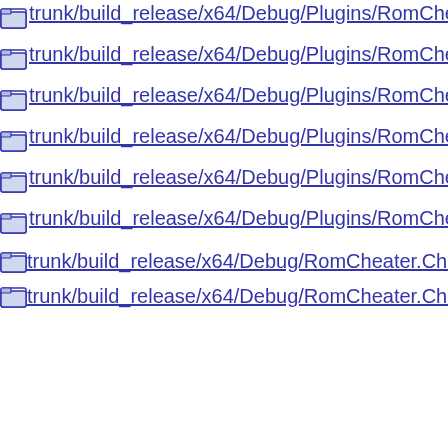Directory trunk/build_release/x64/Debug/Plugins/RomCheater.EmuMMAPPlu
Directory trunk/build_release/x64/Debug/Plugins/RomCheater.EmuMMAPPlu
Directory trunk/build_release/x64/Debug/Plugins/RomCheater.RVACheatList.
Directory trunk/build_release/x64/Debug/Plugins/RomCheater.RVACheatList.
Directory trunk/build_release/x64/Debug/Plugins/RomCheater.ScratchPad.dll
Directory trunk/build_release/x64/Debug/Plugins/RomCheater.ScratchPad.pdb
Directory trunk/build_release/x64/Debug/RomCheater.CheatPlugi
Directory trunk/build_release/x64/Debug/RomCheater.CheatPlugi